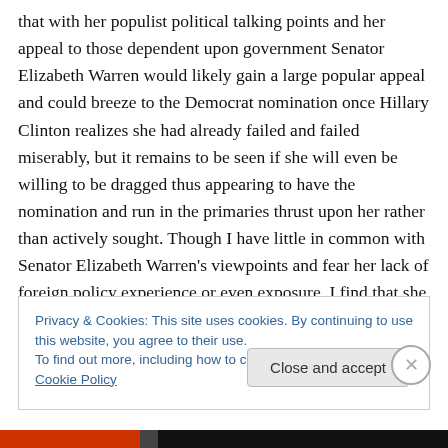that with her populist political talking points and her appeal to those dependent upon government Senator Elizabeth Warren would likely gain a large popular appeal and could breeze to the Democrat nomination once Hillary Clinton realizes she had already failed and failed miserably, but it remains to be seen if she will even be willing to be dragged thus appearing to have the nomination and run in the primaries thrust upon her rather than actively sought. Though I have little in common with Senator Elizabeth Warren's viewpoints and fear her lack of foreign policy experience or even exposure, I find that she would have
Privacy & Cookies: This site uses cookies. By continuing to use this website, you agree to their use.
To find out more, including how to control cookies, see here: Cookie Policy